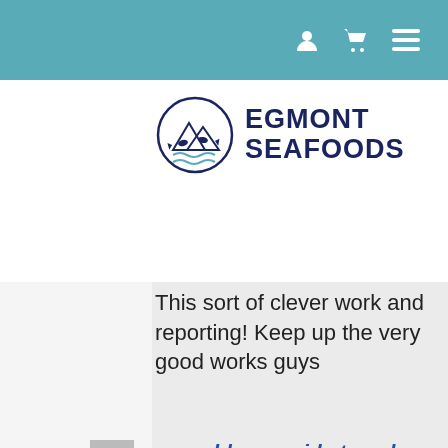Navigation bar with user, cart, and menu icons
[Figure (logo): Egmont Seafoods logo: circular emblem with fish and waves, beside bold navy text EGMONT SEAFOODS]
This sort of clever work and reporting! Keep up the very good works guys
we world pro guide travel says: October 8, 2020 at 4:08 pm — That is a good tip particularly to those fresh to the blogosphere. Brief but